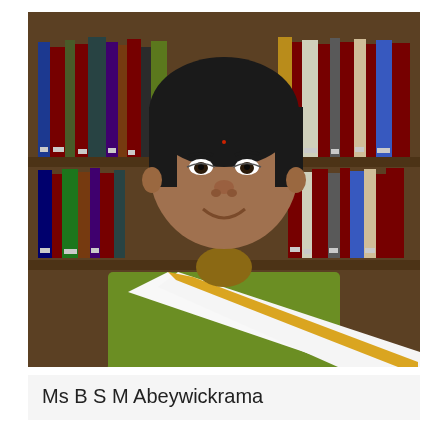[Figure (photo): Portrait photo of Ms B S M Abeywickrama, a woman wearing a green top and white saree with yellow border, standing in front of a bookshelf filled with books, smiling at the camera.]
Ms B S M Abeywickrama